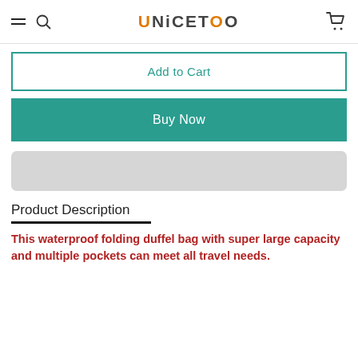UNICETOO
Add to Cart
Buy Now
Product Description
This waterproof folding duffel bag with super large capacity and multiple pockets can meet all travel needs.